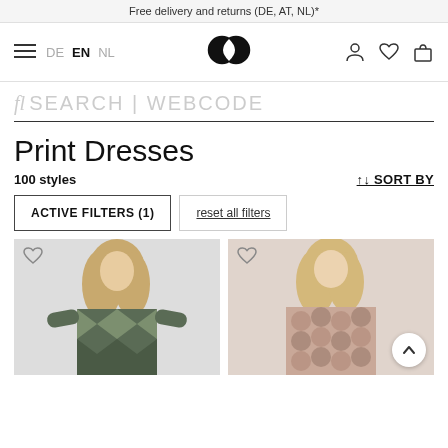Free delivery and returns (DE, AT, NL)*
[Figure (screenshot): Navigation bar with hamburger menu, language selectors DE EN NL, logo (interlinked circles), and icons for account, wishlist, bag]
fl SEARCH | WEBCODE
Print Dresses
100 styles
↑↓ SORT BY
ACTIVE FILTERS (1)
reset all filters
[Figure (photo): Female model wearing a dark geometric print dress, blonde hair, facing forward]
[Figure (photo): Female model wearing a pink/mauve circular print dress, blonde hair, facing forward]